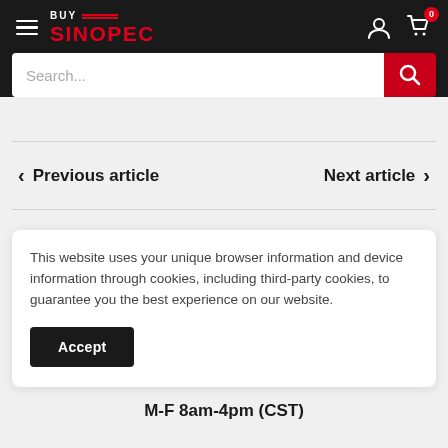BUY SINOPEC — navigation header with hamburger menu, logo, user icon, cart icon (0), and search bar
‹ Previous article
Next article ›
This website uses your unique browser information and device information through cookies, including third-party cookies, to guarantee you the best experience on our website.
Accept
M-F 8am-4pm (CST)